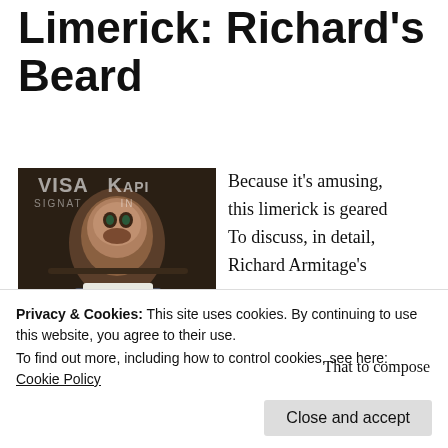Limerick: Richard's Beard
November 21, 2014 by jholland
[Figure (photo): Photo of Richard Armitage at a Visa event, wearing a suit with beard, with VISA and AMERICA branding visible in background]
Because it's amusing, this limerick is geared
To discuss, in detail,
Richard Armitage's
Beard.
Privacy & Cookies: This site uses cookies. By continuing to use this website, you agree to their use.
To find out more, including how to control cookies, see here: Cookie Policy
That to compose